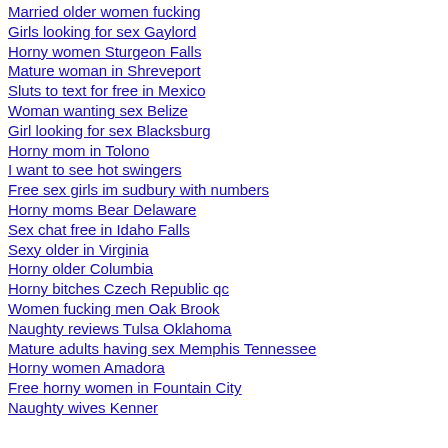Married older women fucking
Girls looking for sex Gaylord
Horny women Sturgeon Falls
Mature woman in Shreveport
Sluts to text for free in Mexico
Woman wanting sex Belize
Girl looking for sex Blacksburg
Horny mom in Tolono
I want to see hot swingers
Free sex girls im sudbury with numbers
Horny moms Bear Delaware
Sex chat free in Idaho Falls
Sexy older in Virginia
Horny older Columbia
Horny bitches Czech Republic qc
Women fucking men Oak Brook
Naughty reviews Tulsa Oklahoma
Mature adults having sex Memphis Tennessee
Horny women Amadora
Free horny women in Fountain City
Naughty wives Kenner
[Figure (photo): Profile photo of a woman]
Bradford
online
encoun
[Figure (photo): Profile photo of a woman in red top]
Insilico
Meadvi
online
[Figure (photo): Profile photo of a woman in blue top]
vandho
Riva de
online
[Figure (photo): Garmisch-Parte profile image]
William
online
[Figure (photo): Blank profile placeholder]
schedu
Darwin
online
people
[Figure (photo): fat girls free ph - broken image]